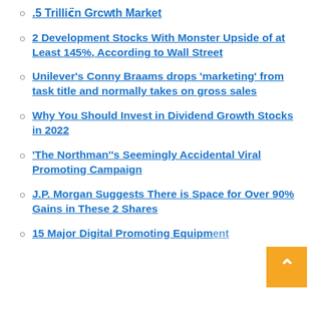.5 Trillion Growth Market
2 Development Stocks With Monster Upside of at Least 145%, According to Wall Street
Unilever's Conny Braams drops 'marketing' from task title and normally takes on gross sales
Why You Should Invest in Dividend Growth Stocks in 2022
'The Northman''s Seemingly Accidental Viral Promoting Campaign
J.P. Morgan Suggests There is Space for Over 90% Gains in These 2 Shares
15 Major Digital Promoting Equipment